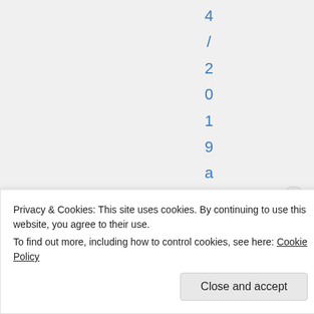4/2019 at 21:0
Privacy & Cookies: This site uses cookies. By continuing to use this website, you agree to their use.
To find out more, including how to control cookies, see here: Cookie Policy
Close and accept